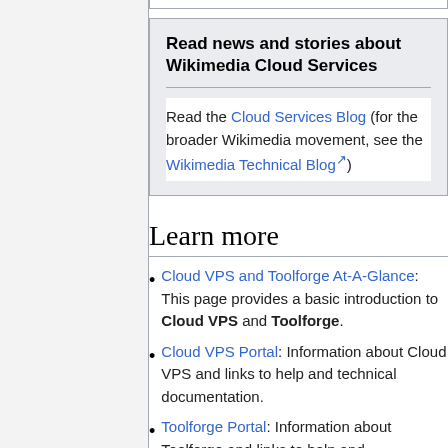Read news and stories about Wikimedia Cloud Services
Read the Cloud Services Blog (for the broader Wikimedia movement, see the Wikimedia Technical Blog)
Learn more
Cloud VPS and Toolforge At-A-Glance: This page provides a basic introduction to Cloud VPS and Toolforge.
Cloud VPS Portal: Information about Cloud VPS and links to help and technical documentation.
Toolforge Portal: Information about Toolforge and links to help and